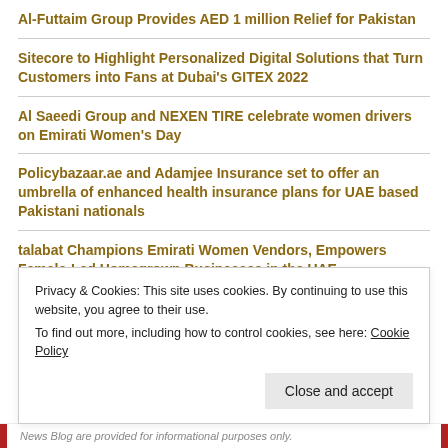Al-Futtaim Group Provides AED 1 million Relief for Pakistan
Sitecore to Highlight Personalized Digital Solutions that Turn Customers into Fans at Dubai's GITEX 2022
Al Saeedi Group and NEXEN TIRE celebrate women drivers on Emirati Women's Day
Policybazaar.ae and Adamjee Insurance set to offer an umbrella of enhanced health insurance plans for UAE based Pakistani nationals
talabat Champions Emirati Women Vendors, Empowers Female-Led Homegrown Businesses in the UAE
Juliana Khalil's Online Arabic Course helps learners master Spoken Arabic in just 350 AED
Privacy & Cookies: This site uses cookies. By continuing to use this website, you agree to their use.
To find out more, including how to control cookies, see here: Cookie Policy
News Blog are provided for informational purposes only.